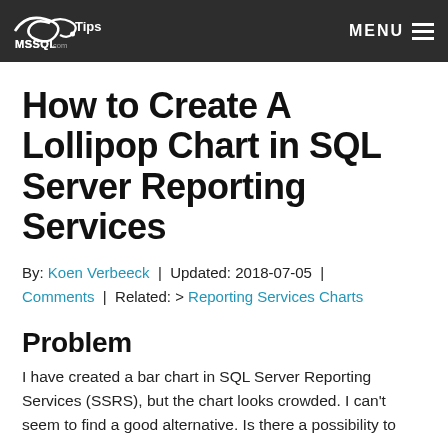MSSQLTips.com | MENU
How to Create A Lollipop Chart in SQL Server Reporting Services
By: Koen Verbeeck | Updated: 2018-07-05 | Comments | Related: > Reporting Services Charts
Problem
I have created a bar chart in SQL Server Reporting Services (SSRS), but the chart looks crowded. I can't seem to find a good alternative. Is there a possibility to